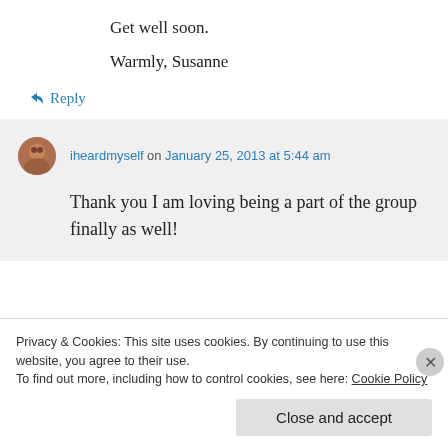Get well soon.
Warmly, Susanne
↳ Reply
iheardmyself on January 25, 2013 at 5:44 am
Thank you I am loving being a part of the group finally as well!
Privacy & Cookies: This site uses cookies. By continuing to use this website, you agree to their use. To find out more, including how to control cookies, see here: Cookie Policy